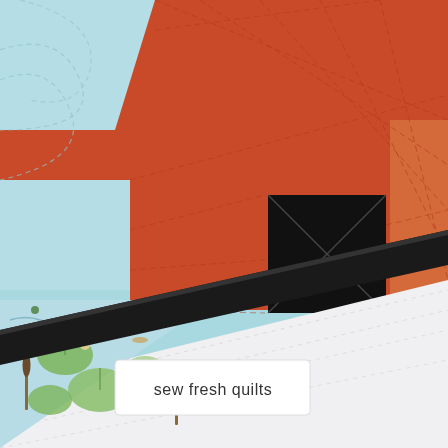[Figure (photo): Close-up photograph of a quilt showing a fox design in orange fabric with a black square nose/eye detail on a light blue background, with a black binding strip diagonally across the lower portion. The backing fabric features a light blue design with lily pads and pond plants. A white fabric label reading 'sew fresh quilts' in lowercase letters is attached to the backing near the bottom-left area. The quilt shows decorative machine quilting stitches throughout.]